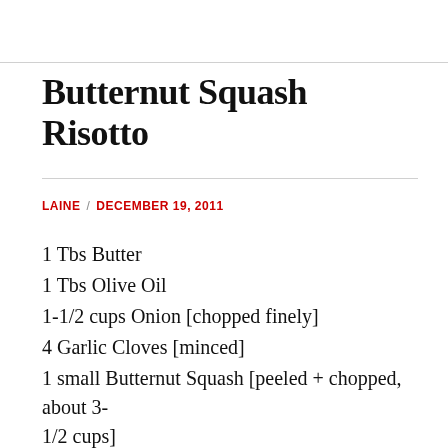Butternut Squash Risotto
LAINE / DECEMBER 19, 2011
1 Tbs Butter
1 Tbs Olive Oil
1-1/2 cups Onion [chopped finely]
4 Garlic Cloves [minced]
1 small Butternut Squash [peeled + chopped, about 3-1/2 cups]
1/2 cup Dry White Wine
1 cup Arborio Rice